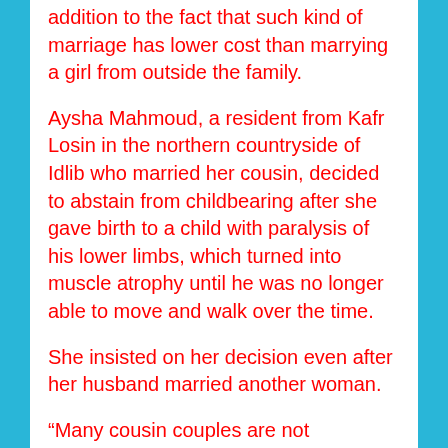addition to the fact that such kind of marriage has lower cost than marrying a girl from outside the family.
Aysha Mahmoud, a resident from Kafr Losin in the northern countryside of Idlib who married her cousin, decided to abstain from childbearing after she gave birth to a child with paralysis of his lower limbs, which turned into muscle atrophy until he was no longer able to move and walk over the time.
She insisted on her decision even after her husband married another woman.
“Many cousin couples are not subjected to the necessary medical examinations